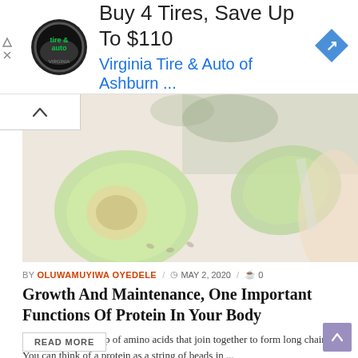[Figure (other): Advertisement banner: tire and auto shop logo, text 'Buy 4 Tires, Save Up To $110', subtext 'Virginia Tire & Auto of Ashburn ...', blue navigation diamond icon on right.]
[Figure (photo): Photo of green fruit (appears to be a papaya or similar) cut in half showing seeds, with a hand holding a knife, on a wooden surface with herbs in background. Faded/washed out appearance.]
BY OLUWAMUYIWA OYEDELE / MAY 2, 2020 / 0
Growth And Maintenance, One Important Functions Of Protein In Your Body
Proteins are made up of amino acids that join together to form long chains. You can think of a protein as a string of beads in ...
READ MORE